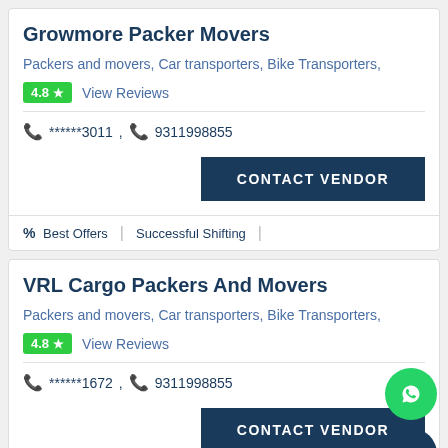Growmore Packer Movers
Packers and movers, Car transporters, Bike Transporters,
4.8 ★  View Reviews
📞 ******3011 , 📞 9311998855
CONTACT VENDOR
% Best Offers  |  Successful Shifting
VRL Cargo Packers And Movers
Packers and movers, Car transporters, Bike Transporters,
4.8 ★  View Reviews
📞 ******1672 , 📞 9311998855
CONTACT VENDOR
% Best Offers  |  Successful Shifting